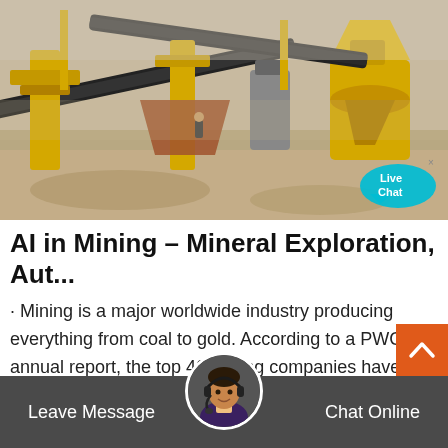[Figure (photo): Aerial view of a large yellow mining facility with conveyor belts, crushers, and heavy machinery at an open-pit mine.]
AI in Mining – Mineral Exploration, Aut...
· Mining is a major worldwide industry producing everything from coal to gold. According to a PWC annual report, the top 40 mining companies have a market capitalization of $748 billion as of April 2017. The industry as a whole saw a slump in 2015 but since then the sector has recovered due to commodity prices.
Leave Message   Chat Online